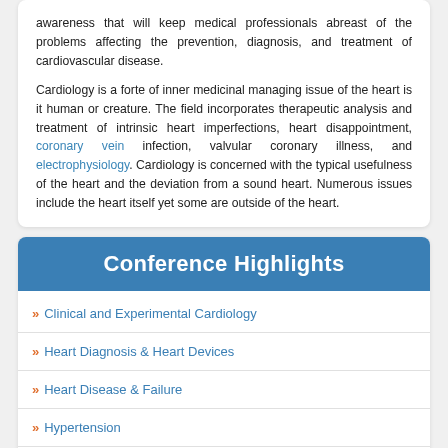awareness that will keep medical professionals abreast of the problems affecting the prevention, diagnosis, and treatment of cardiovascular disease.
Cardiology is a forte of inner medicinal managing issue of the heart is it human or creature. The field incorporates therapeutic analysis and treatment of intrinsic heart imperfections, heart disappointment, coronary vein infection, valvular coronary illness, and electrophysiology. Cardiology is concerned with the typical usefulness of the heart and the deviation from a sound heart. Numerous issues include the heart itself yet some are outside of the heart.
Conference Highlights
» Clinical and Experimental Cardiology
» Heart Diagnosis & Heart Devices
» Heart Disease & Failure
» Hypertension
» Angiography & Interventional Cardiology